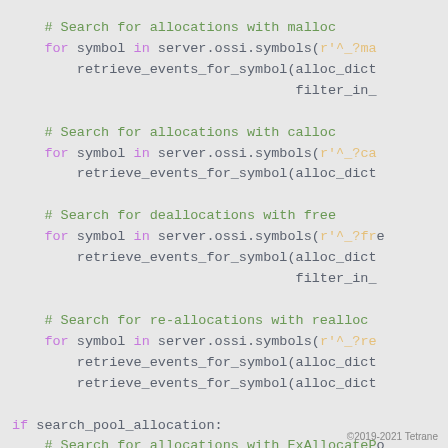[Figure (screenshot): Python source code showing memory allocation search routines using malloc, calloc, free, realloc, and ExAllocatePool symbols, with syntax highlighting (purple keywords, green comments, blue function names, orange regex strings)]
©2019-2021 Tetrane